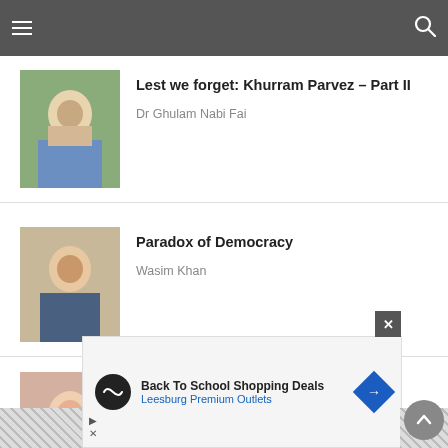Navigation bar with hamburger menu and search icon
Lest we forget: Khurram Parvez – Part II
Dr Ghulam Nabi Fai
Paradox of Democracy
Wasim Khan
The absolute power
Senator Dr Zarqa Suharwardy Taimur
[Figure (infographic): Advertisement banner: Back To School Shopping Deals - Leesburg Premium Outlets with logo and arrow icon]